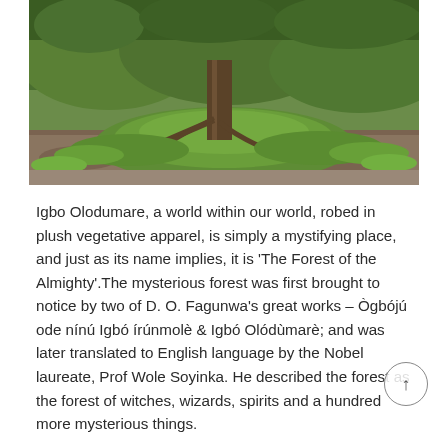[Figure (photo): Photo of a lush green grove or forest floor with dense low vegetation and grass, with a tree trunk visible in the background.]
Igbo Olodumare, a world within our world, robed in plush vegetative apparel, is simply a mystifying place, and just as its name implies, it is 'The Forest of the Almighty'.The mysterious forest was first brought to notice by two of D. O. Fagunwa's great works – Ògbójú ode nínú Igbó írúnmolè & Igbó Olódùmarè; and was later translated to English language by the Nobel laureate, Prof Wole Soyinka. He described the forest as the forest of witches, wizards, spirits and a hundred more mysterious things.
He wrote of giant snails and crabs, he wrote of things that makes one wonder, things that sparks the fir wanderlust a the reader's heart. This same forest is